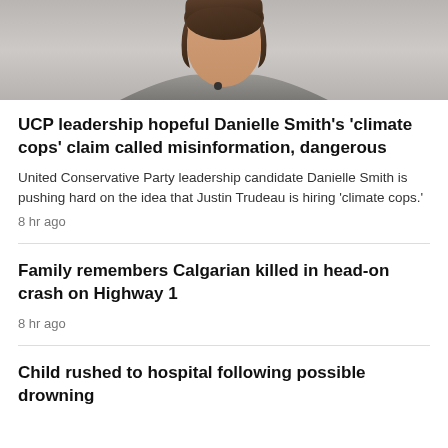[Figure (photo): Photo of a woman (Danielle Smith) in a grey blazer against a light background, cropped to show head and shoulders]
UCP leadership hopeful Danielle Smith's 'climate cops' claim called misinformation, dangerous
United Conservative Party leadership candidate Danielle Smith is pushing hard on the idea that Justin Trudeau is hiring 'climate cops.'
8 hr ago
Family remembers Calgarian killed in head-on crash on Highway 1
8 hr ago
Child rushed to hospital following possible drowning